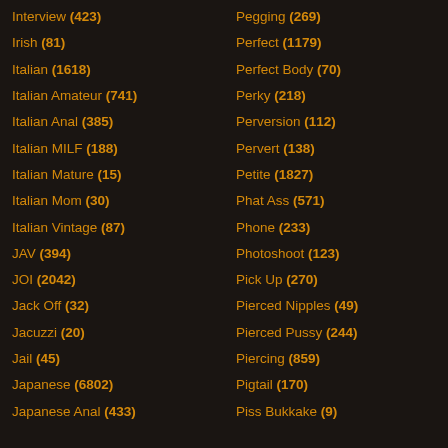Interview (423)
Irish (81)
Italian (1618)
Italian Amateur (741)
Italian Anal (385)
Italian MILF (188)
Italian Mature (15)
Italian Mom (30)
Italian Vintage (87)
JAV (394)
JOI (2042)
Jack Off (32)
Jacuzzi (20)
Jail (45)
Japanese (6802)
Japanese Anal (433)
Pegging (269)
Perfect (1179)
Perfect Body (70)
Perky (218)
Perversion (112)
Pervert (138)
Petite (1827)
Phat Ass (571)
Phone (233)
Photoshoot (123)
Pick Up (270)
Pierced Nipples (49)
Pierced Pussy (244)
Piercing (859)
Pigtail (170)
Piss Bukkake (9)